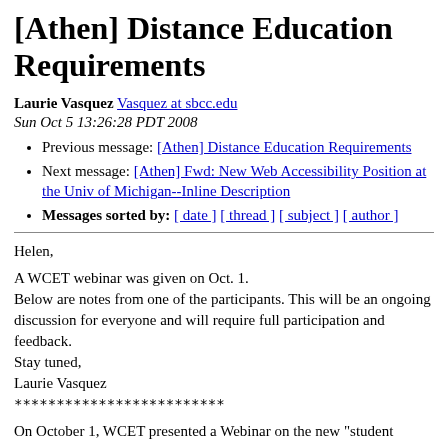[Athen] Distance Education Requirements
Laurie Vasquez Vasquez at sbcc.edu
Sun Oct 5 13:26:28 PDT 2008
Previous message: [Athen] Distance Education Requirements
Next message: [Athen] Fwd: New Web Accessibility Position at the Univ of Michigan--Inline Description
Messages sorted by: [ date ] [ thread ] [ subject ] [ author ]
Helen,

A WCET webinar was given on Oct. 1.
Below are notes from one of the participants. This will be an ongoing discussion for everyone and will require full participation and feedback.
Stay tuned,
Laurie Vasquez
*************************

On October 1, WCET presented a Webinar on the new "student